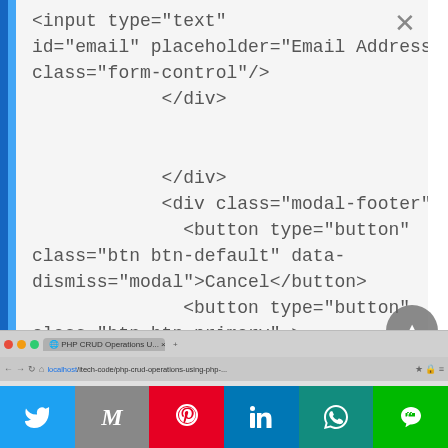[Figure (screenshot): Code editor screenshot showing HTML code snippet with input element, div closing tags, modal-footer div, and button elements. Left side has blue vertical border bars. Top-right has an X close button.]
[Figure (screenshot): Browser address bar showing localhost/itech-code/php-crud-operations-using-php-... with PHP CRUD Operations tab open]
[Figure (infographic): Social media sharing bar with Twitter, Gmail/Email, Pinterest, LinkedIn, WhatsApp, and Line buttons]